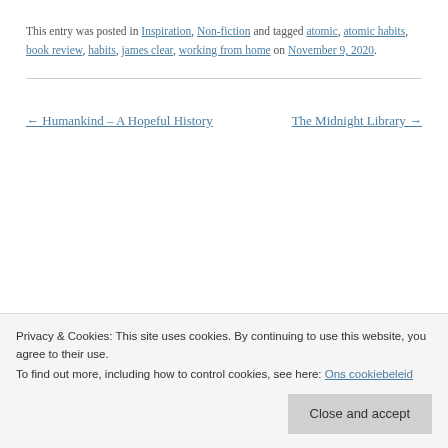This entry was posted in Inspiration, Non-fiction and tagged atomic, atomic habits, book review, habits, james clear, working from home on November 9, 2020.
← Humankind – A Hopeful History    The Midnight Library →
Privacy & Cookies: This site uses cookies. By continuing to use this website, you agree to their use.
To find out more, including how to control cookies, see here: Ons cookiebeleid
Close and accept